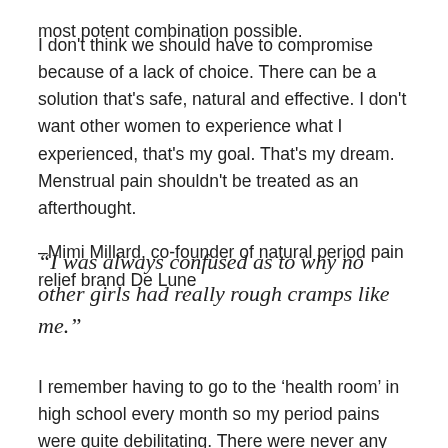most potent combination possible.
I don't think we should have to compromise because of a lack of choice. There can be a solution that's safe, natural and effective. I don't want other women to experience what I experienced, that's my goal. That's my dream. Menstrual pain shouldn't be treated as an afterthought.
–Mimi Millard, co-founder of natural period pain relief brand De Lune
“I was always confused as to why no other girls had really rough cramps like me.”
I remember having to go to the ‘health room’ in high school every month so my period pains were quite debilitating. There were never any good solutions, but I